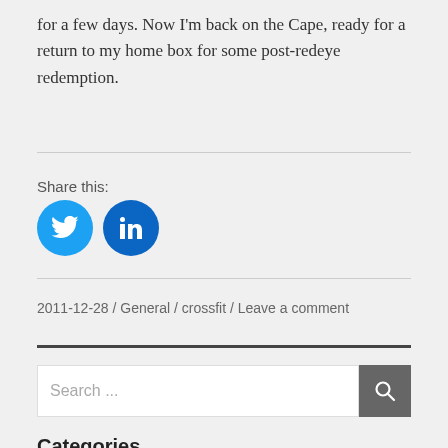for a few days. Now I'm back on the Cape, ready for a return to my home box for some post-redeye redemption.
Share this:
[Figure (other): Twitter and LinkedIn social share buttons as blue circular icons]
2011-12-28 / General / crossfit / Leave a comment
Search ...
Categories